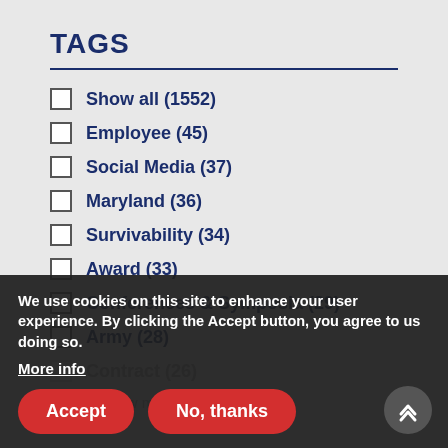TAGS
Show all (1552)
Employee (45)
Social Media (37)
Maryland (36)
Survivability (34)
Award (33)
Conferences & Symposia (29)
Army (28)
Contract (26)
Show more
We use cookies on this site to enhance your user experience. By clicking the Accept button, you agree to us doing so.
More info